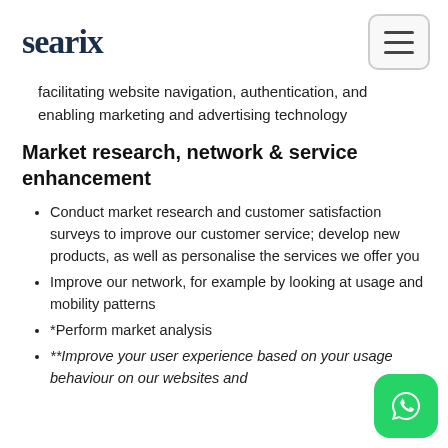searix
facilitating website navigation, authentication, and enabling marketing and advertising technology
Market research, network & service enhancement
Conduct market research and customer satisfaction surveys to improve our customer service; develop new products, as well as personalise the services we offer you
Improve our network, for example by looking at usage and mobility patterns
*Perform market analysis
**Improve your user experience based on your usage behaviour on our websites and